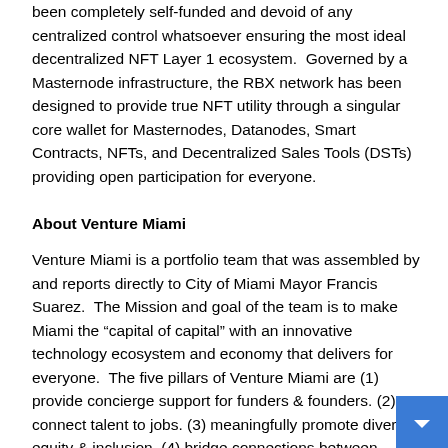been completely self-funded and devoid of any centralized control whatsoever ensuring the most ideal decentralized NFT Layer 1 ecosystem.  Governed by a Masternode infrastructure, the RBX network has been designed to provide true NFT utility through a singular core wallet for Masternodes, Datanodes, Smart Contracts, NFTs, and Decentralized Sales Tools (DSTs) providing open participation for everyone.
About Venture Miami
Venture Miami is a portfolio team that was assembled by and reports directly to City of Miami Mayor Francis Suarez.  The Mission and goal of the team is to make Miami the “capital of capital” with an innovative technology ecosystem and economy that delivers for everyone.  The five pillars of Venture Miami are (1) provide concierge support for funders & founders. (2) connect talent to jobs. (3) meaningfully promote diversity, equity & inclusion. (4) bridge connections between